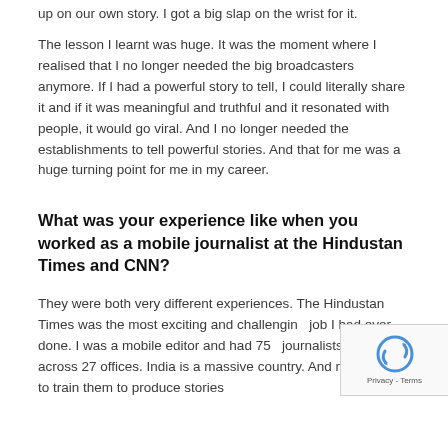up on our own story. I got a big slap on the wrist for it.
The lesson I learnt was huge. It was the moment where I realised that I no longer needed the big broadcasters anymore. If I had a powerful story to tell, I could literally share it and if it was meaningful and truthful and it resonated with people, it would go viral. And I no longer needed the establishments to tell powerful stories. And that for me was a huge turning point for me in my career.
What was your experience like when you worked as a mobile journalist at the Hindustan Times and CNN?
They were both very different experiences. The Hindustan Times was the most exciting and challenging job I had ever done. I was a mobile editor and had 750 journalists spread across 27 offices. India is a massive country. And my job was to train them to produce stories